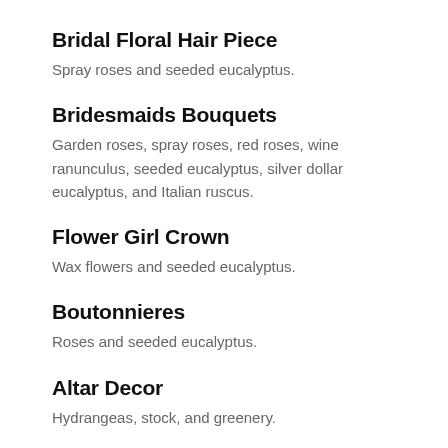Bridal Floral Hair Piece
Spray roses and seeded eucalyptus.
Bridesmaids Bouquets
Garden roses, spray roses, red roses, wine ranunculus, seeded eucalyptus, silver dollar eucalyptus, and Italian ruscus.
Flower Girl Crown
Wax flowers and seeded eucalyptus.
Boutonnieres
Roses and seeded eucalyptus.
Altar Decor
Hydrangeas, stock, and greenery.
Centerp…